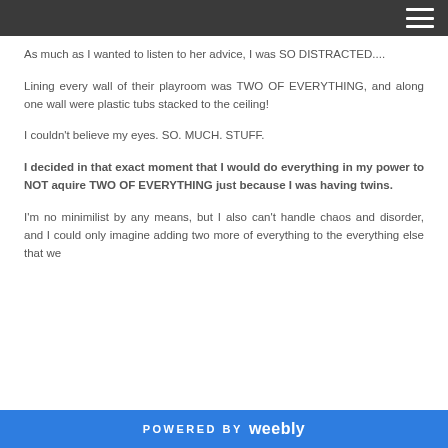As much as I wanted to listen to her advice, I was SO DISTRACTED....
Lining every wall of their playroom was TWO OF EVERYTHING, and along one wall were plastic tubs stacked to the ceiling!
I couldn't believe my eyes. SO. MUCH. STUFF.
I decided in that exact moment that I would do everything in my power to NOT aquire TWO OF EVERYTHING just because I was having twins.
I'm no minimilist by any means, but I also can't handle chaos and disorder, and I could only imagine adding two more of everything to the everything else that we
POWERED BY weebly